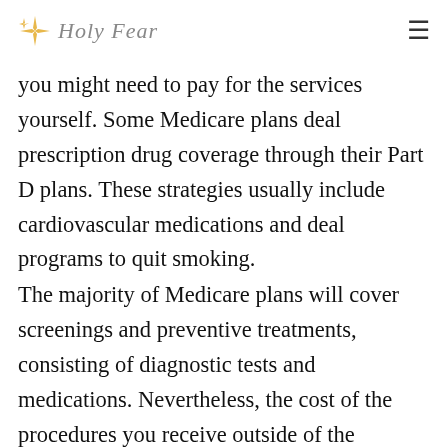Holy Fear
you might need to pay for the services yourself. Some Medicare plans deal prescription drug coverage through their Part D plans. These strategies usually include cardiovascular medications and deal programs to quit smoking.
The majority of Medicare plans will cover screenings and preventive treatments, consisting of diagnostic tests and medications. Nevertheless, the cost of the procedures you receive outside of the preventive care is your responsibility